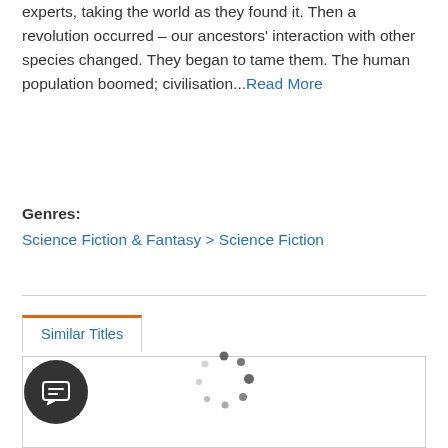experts, taking the world as they found it. Then a revolution occurred – our ancestors' interaction with other species changed. They began to tame them. The human population boomed; civilisation...Read More
Genres:
Science Fiction & Fantasy > Science Fiction
Similar Titles
[Figure (other): Loading spinner animation (circular dots) indicating content is loading in the Similar Titles tab panel]
[Figure (other): Chat/messaging button widget in bottom left corner, dark circular button with chat bubble icon]